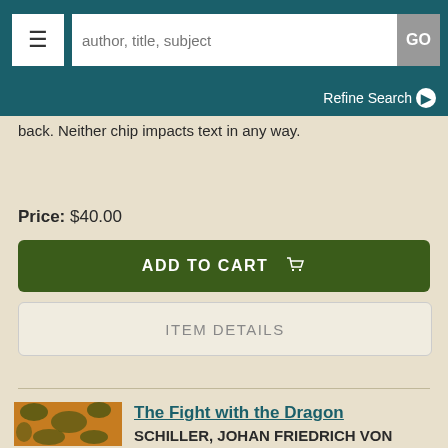author, title, subject | GO | Refine Search
back. Neither chip impacts text in any way.
Price: $40.00
ADD TO CART
ITEM DETAILS
The Fight with the Dragon
SCHILLER, JOHAN FRIEDRICH VON
London: Septimus Prowett, 1825. First edition. Hardcover. Near Fine. Thin 4to. Illustrated by Henry Moscos with 16 line